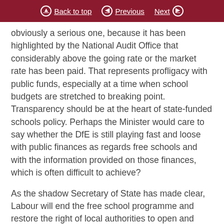Back to top | Previous | Next
obviously a serious one, because it has been highlighted by the National Audit Office that considerably above the going rate or the market rate has been paid. That represents profligacy with public funds, especially at a time when school budgets are stretched to breaking point. Transparency should be at the heart of state-funded schools policy. Perhaps the Minister would care to say whether the DfE is still playing fast and loose with public finances as regards free schools and with the information provided on those finances, which is often difficult to achieve?
As the shadow Secretary of State has made clear, Labour will end the free school programme and restore the right of local authorities to open and